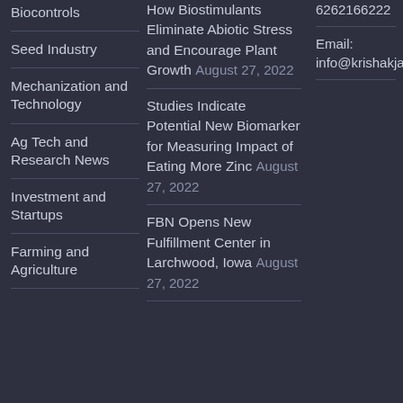Biocontrols
Seed Industry
Mechanization and Technology
Ag Tech and Research News
Investment and Startups
Farming and Agriculture
How Biostimulants Eliminate Abiotic Stress and Encourage Plant Growth August 27, 2022
Studies Indicate Potential New Biomarker for Measuring Impact of Eating More Zinc August 27, 2022
FBN Opens New Fulfillment Center in Larchwood, Iowa August 27, 2022
6262166222
Email: info@krishakjagat.org